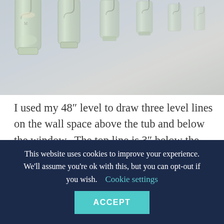[Figure (photo): Photo of glass bottles hanging upside down in a row, with hooks visible, against a light gray/blue wall background.]
I used my 48″ level to draw three level lines on the wall space above the tub and below the window.  The top line is 3″ below the windowsill.  The spacing between the lines is 8″.  The votive candles when hung are approximately 5″ from the top of the hook to...
This website uses cookies to improve your experience. We'll assume you're ok with this, but you can opt-out if you wish.
Cookie settings
ACCEPT